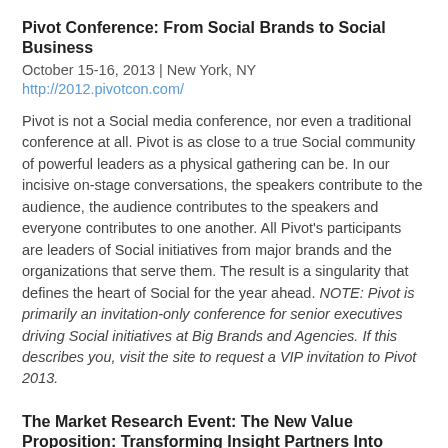Pivot Conference: From Social Brands to Social Business
October 15-16, 2013 | New York, NY
http://2012.pivotcon.com/
Pivot is not a Social media conference, nor even a traditional conference at all. Pivot is as close to a true Social community of powerful leaders as a physical gathering can be. In our incisive on-stage conversations, the speakers contribute to the audience, the audience contributes to the speakers and everyone contributes to one another. All Pivot's participants are leaders of Social initiatives from major brands and the organizations that serve them. The result is a singularity that defines the heart of Social for the year ahead. NOTE: Pivot is primarily an invitation-only conference for senior executives driving Social initiatives at Big Brands and Agencies. If this describes you, visit the site to request a VIP invitation to Pivot 2013.
The Market Research Event: The New Value Proposition: Transforming Insight Partners Into Strategic Consultative Leaders
October 21-23, 2013 | Nashville, TN